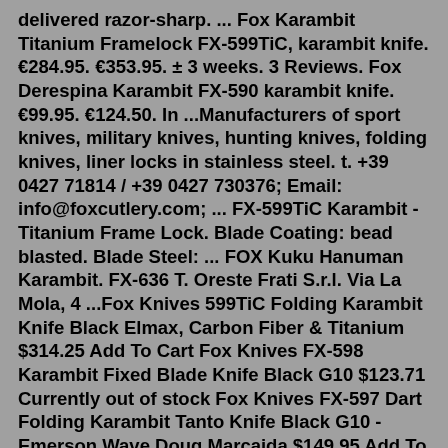delivered razor-sharp. ... Fox Karambit Titanium Framelock FX-599TiC, karambit knife. €284.95. €353.95. ± 3 weeks. 3 Reviews. Fox Derespina Karambit FX-590 karambit knife. €99.95. €124.50. In ...Manufacturers of sport knives, military knives, hunting knives, folding knives, liner locks in stainless steel. t. +39 0427 71814 / +39 0427 730376; Email: info@foxcutlery.com; ... FX-599TiC Karambit - Titanium Frame Lock. Blade Coating: bead blasted. Blade Steel: ... FOX Kuku Hanuman Karambit. FX-636 T. Oreste Frati S.r.l. Via La Mola, 4 ...Fox Knives 599TiC Folding Karambit Knife Black Elmax, Carbon Fiber & Titanium $314.25 Add To Cart Fox Knives FX-598 Karambit Fixed Blade Knife Black G10 $123.71 Currently out of stock Fox Knives FX-597 Dart Folding Karambit Tanto Knife Black G10 - Emerson Wave Doug Marcaida $149.95 Add To Cart Product Description. Knife Command brings you the Fox Knives FX-599 Small G10 Karambit. Carry one into harm's way, or for self defense. The FX-599 is 6-7/8" overall, 4 3/4" closed. It has a 2 9/16", 12"